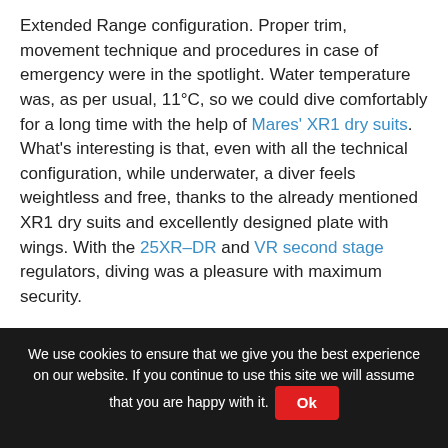Extended Range configuration. Proper trim, movement technique and procedures in case of emergency were in the spotlight. Water temperature was, as per usual, 11°C, so we could dive comfortably for a long time with the help of Mares' XR1 dry suits. What's interesting is that, even with all the technical configuration, while underwater, a diver feels weightless and free, thanks to the already mentioned XR1 dry suits and excellently designed plate with wings. With the 25XR–DR and VR second stage regulators, diving was a pleasure with maximum security.
All in all, when we look back on the time spent in Rab, we can conclude that we expanded our knowledge of diving and had the pleasure of using state-of-the-art XR
We use cookies to ensure that we give you the best experience on our website. If you continue to use this site we will assume that you are happy with it. Ok